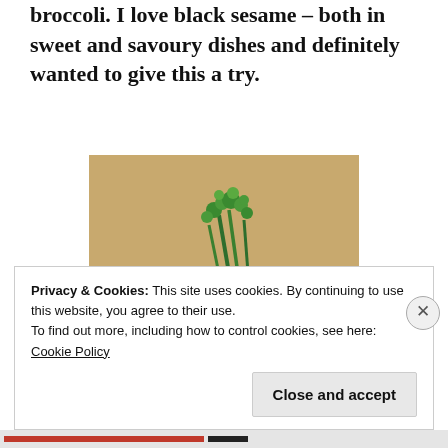broccoli. I love black sesame – both in sweet and savoury dishes and definitely wanted to give this a try.
[Figure (photo): A dark black sesame tofu or jelly block on a white plate, topped with white sesame seeds and green broccolini stems, with a brown sauce pooled around the base.]
Privacy & Cookies: This site uses cookies. By continuing to use this website, you agree to their use.
To find out more, including how to control cookies, see here:
Cookie Policy
Close and accept